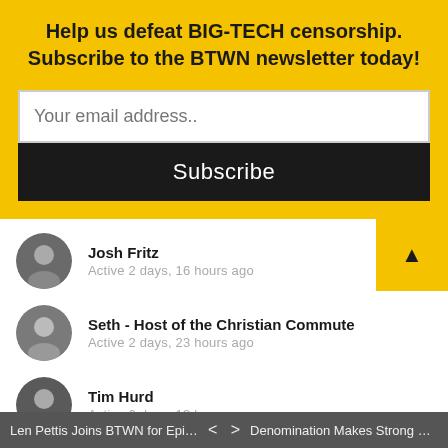Help us defeat BIG-TECH censorship. Subscribe to the BTWN newsletter today!
Your email address..
Subscribe
Josh Fritz
Active 2 days, 16 hours ago
Seth - Host of the Christian Commute
Active 2 days, 23 hours ago
Tim Hurd
Active 6 days, 13 hours ago
John Brady
Active 1 week, 3 days ago
Michael Coughlin
Active 1 week, 4 days ago
Len Pettis Joins BTWN for Episode 311 | ...   < >   Denomination Makes Strong Statement ...